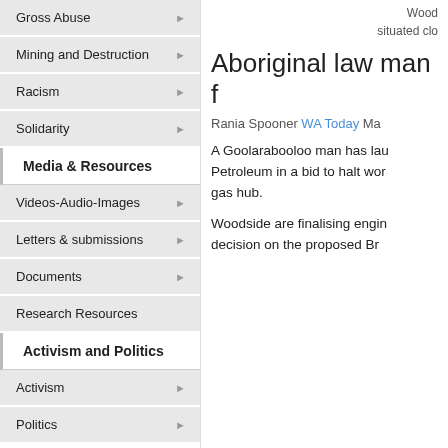Gross Abuse
Mining and Destruction
Racism
Solidarity
Media & Resources
Videos-Audio-Images
Letters & submissions
Documents
Research Resources
Activism and Politics
Activism
Politics
Wood... situated clo...
Aboriginal law man f...
Rania Spooner WA Today Ma...
A Goolarabooloo man has lau... Petroleum in a bid to halt wor... gas hub.
Woodside are finalising engin... decision on the proposed Br...